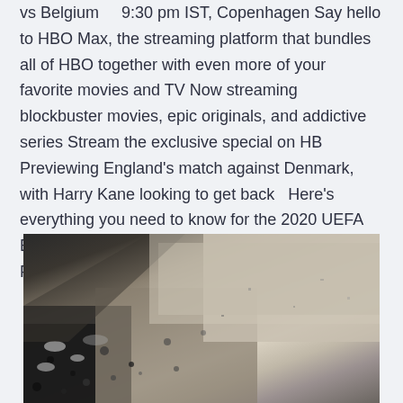vs Belgium    9:30 pm IST, Copenhagen Say hello to HBO Max, the streaming platform that bundles all of HBO together with even more of your favorite movies and TV Now streaming blockbuster movies, epic originals, and addictive series Stream the exclusive special on HB Previewing England's match against Denmark, with Harry Kane looking to get back  Here's everything you need to know for the 2020 UEFA Euro soccer tournament: Belgium. Denmark. Finland. Russia. Group C. Austria.
[Figure (photo): Black and white photo showing a textured ground surface, possibly sand or dirt with scattered debris or gravel, taken at an angle.]